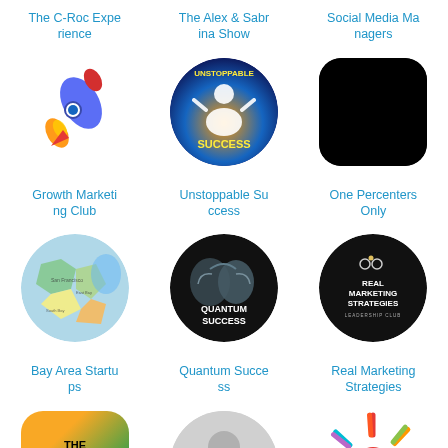The C-Roc Experience
The Alex & Sabrina Show
Social Media Managers
[Figure (illustration): Rocket emoji illustration]
[Figure (photo): Unstoppable Success circular logo with person silhouette and text]
[Figure (illustration): Black rounded square — One Percenters Only]
Growth Marketing Club
Unstoppable Success
One Percenters Only
[Figure (illustration): Bay Area map circular image]
[Figure (illustration): Quantum Success circular logo with brain]
[Figure (illustration): Real Marketing Strategies circular black logo]
Bay Area Startups
Quantum Success
Real Marketing Strategies
[Figure (illustration): The Leadership Institute logo — green/yellow gradient rounded square with black text]
[Figure (illustration): Generic person silhouette placeholder]
[Figure (illustration): Founders Help colorful sunburst logo with F]
The Leadership…
Ask a VC
Founders Helpi…